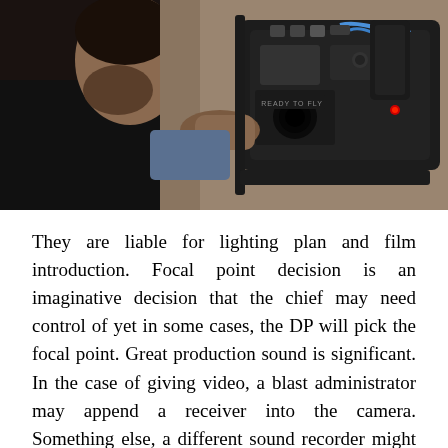[Figure (photo): A man with beard operating a professional film camera, seen from behind/side angle. The camera appears to be a cinema-grade camera with visible controls and labels including 'READY TO FLY'.]
They are liable for lighting plan and film introduction. Focal point decision is an imaginative decision that the chief may need control of yet in some cases, the DP will pick the focal point. Great production sound is significant. In the case of giving video, a blast administrator may append a receiver into the camera. Something else, a different sound recorder might be utilized and placed into a state of harmony with the film later. Making your film is just aspect of the filmmaking experience. Buckling down on an undertaking and seeing the completed item can be energizing and satisfying. You made your film to be seen by others, a wide crowd who can acknowledge, make the most of your difficult work and obviously to pick up acknowledgment. For a tenderfoot film producer